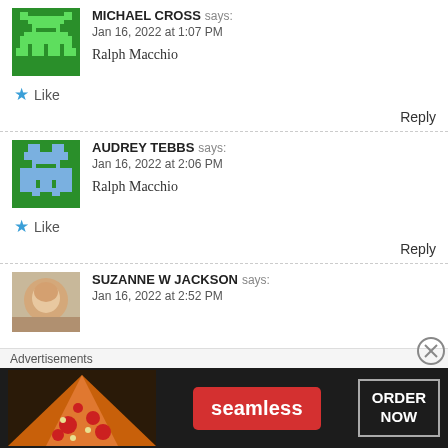MICHAEL CROSS says: Jan 16, 2022 at 1:07 PM
Ralph Macchio
★ Like
Reply
AUDREY TEBBS says: Jan 16, 2022 at 2:06 PM
Ralph Macchio
★ Like
Reply
SUZANNE W JACKSON says: Jan 16, 2022 at 2:52 PM
Advertisements
[Figure (screenshot): Seamless food ordering advertisement banner with pizza image, Seamless logo in red, and ORDER NOW button]